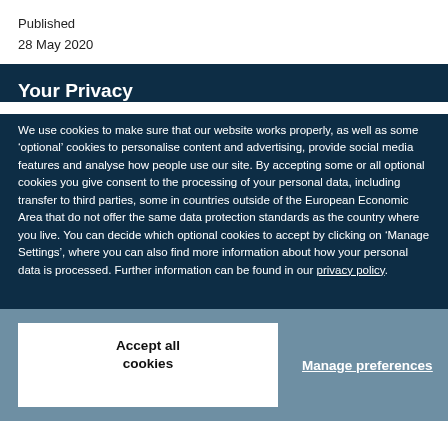Published
28 May 2020
Your Privacy
We use cookies to make sure that our website works properly, as well as some ‘optional’ cookies to personalise content and advertising, provide social media features and analyse how people use our site. By accepting some or all optional cookies you give consent to the processing of your personal data, including transfer to third parties, some in countries outside of the European Economic Area that do not offer the same data protection standards as the country where you live. You can decide which optional cookies to accept by clicking on ‘Manage Settings’, where you can also find more information about how your personal data is processed. Further information can be found in our privacy policy.
Accept all cookies
Manage preferences